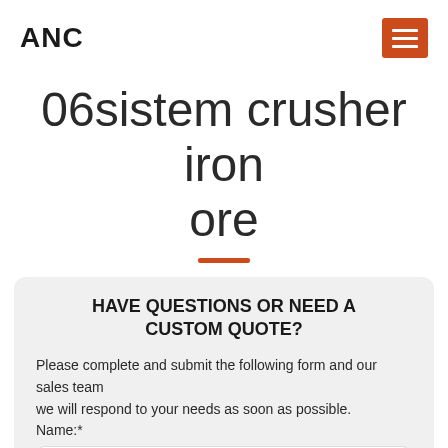ANC
06sistem crusher iron ore
HAVE QUESTIONS OR NEED A CUSTOM QUOTE?
Please complete and submit the following form and our sales team
we will respond to your needs as soon as possible.
Name:*
Such as: Tom